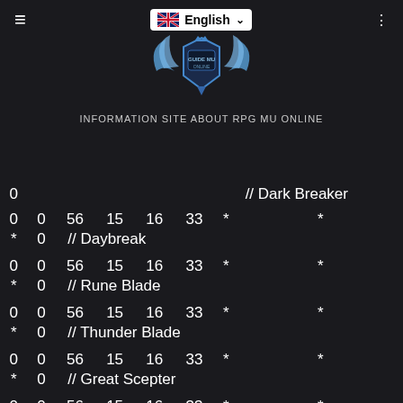INFORMATION SITE ABOUT RPG MU ONLINE
| 0 | 0 | 56 | 15 | 16 | 33 | * | * |
| * | 0 | // Dark Breaker |  |  |  |  |  |
| 0 | 0 | 56 | 15 | 16 | 33 | * | * |
| * | 0 | // Daybreak |  |  |  |  |  |
| 0 | 0 | 56 | 15 | 16 | 33 | * | * |
| * | 0 | // Rune Blade |  |  |  |  |  |
| 0 | 0 | 56 | 15 | 16 | 33 | * | * |
| * | 0 | // Thunder Blade |  |  |  |  |  |
| 0 | 0 | 56 | 15 | 16 | 33 | * | * |
| * | 0 | // Great Scepter |  |  |  |  |  |
| 0 | 0 | 56 | 15 | 16 | 33 | * | * |
| * | 0 | // Lord Scepter |  |  |  |  |  |
| 0 | 0 | 56 | 15 | 16 | 33 | * | * |
| * | 0 | // Divine Scepter of Arc |  |  |  |  |  |
| 0 | 0 | 56 | 15 | 16 | 33 | * | * |
| * | 0 | // Shining Scepter |  |  |  |  |  |